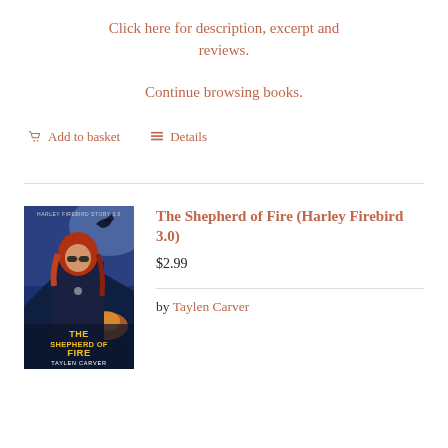Click here for description, excerpt and reviews.
Continue browsing books.
Add to basket   Details
[Figure (illustration): Book cover for 'The Shepherd of Fire (Harley Firebird 3.0)' by Taylen Carver showing a woman with red hair and sunglasses in a dark coat against a blue, stormy background with a dragon and fire. Title text in gold/yellow at the bottom.]
The Shepherd of Fire (Harley Firebird 3.0)
$2.99
by Taylen Carver